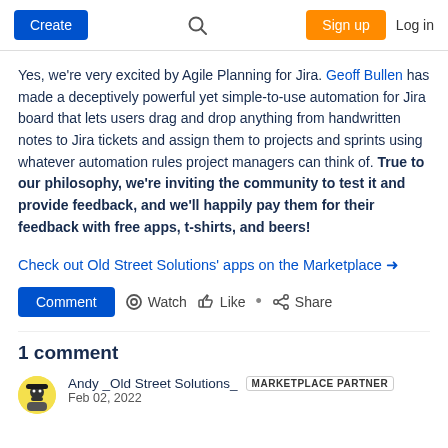Create | Search | Sign up | Log in
Yes, we're very excited by Agile Planning for Jira. Geoff Bullen has made a deceptively powerful yet simple-to-use automation for Jira board that lets users drag and drop anything from handwritten notes to Jira tickets and assign them to projects and sprints using whatever automation rules project managers can think of. True to our philosophy, we're inviting the community to test it and provide feedback, and we'll happily pay them for their feedback with free apps, t-shirts, and beers!
Check out Old Street Solutions' apps on the Marketplace →
Comment  Watch  Like  •  Share
1 comment
Andy _Old Street Solutions_  MARKETPLACE PARTNER  Feb 02, 2022